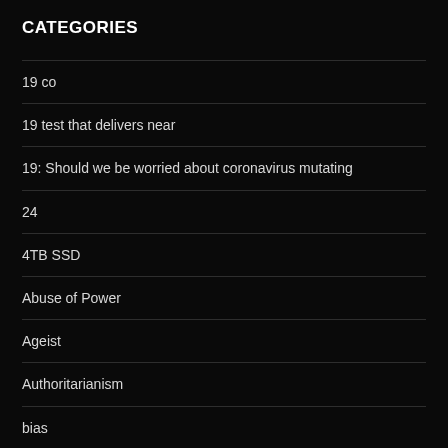CATEGORIES
19 co
19 test that delivers near
19: Should we be worried about coronavirus mutating
24
4TB SSD
Abuse of Power
Ageist
Authoritarianism
bias
big government